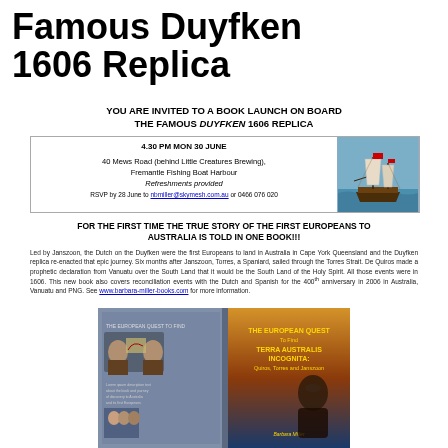Famous Duyfken 1606 Replica
YOU ARE INVITED TO A BOOK LAUNCH ON BOARD THE FAMOUS DUYFKEN 1606 REPLICA
[Figure (other): Event info box with ship photo: date 4.30 PM MON 30 JUNE, 40 Mews Road (behind Little Creatures Brewing), Fremantle Fishing Boat Harbour, Refreshments provided, RSVP by 28 June to nbmiller@skymesh.com.au or 0466 076 020. Right side shows photo of a tall ship (Duyfken replica).]
FOR THE FIRST TIME THE TRUE STORY OF THE FIRST EUROPEANS TO AUSTRALIA IS TOLD IN ONE BOOK!!!
Led by Janszoon, the Dutch on the Duyfken were the first Europeans to land in Australia in Cape York Queensland and the Duyfken replica re-enacted that epic journey. Six months after Janszoon, Torres, a Spaniard, sailed through the Torres Strait. De Quiros made a prophetic declaration from Vanuatu over the South Land that it would be the South Land of the Holy Spirit. All those events were in 1606. This new book also covers reconciliation events with the Dutch and Spanish for the 400th anniversary in 2006 in Australia, Vanuatu and PNG. See www.barbara-miller-books.com for more information.
[Figure (photo): Book cover image: 'THE EUROPEAN QUEST To Find TERRA AUSTRALIS INCOGNITA: Quiros, Torres and Janszoon' by Barbara Miller. Shows historical portrait figures and a dramatic sky background.]